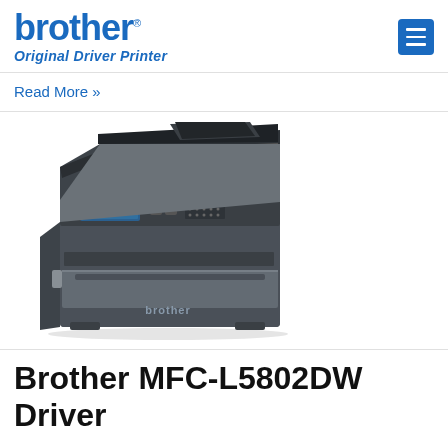[Figure (logo): Brother brand logo with 'Original Driver Printer' subtitle in blue]
Read More »
[Figure (photo): Brother MFC-L5802DW multifunction laser printer, dark grey color, with automatic document feeder on top]
Brother MFC-L5802DW Driver